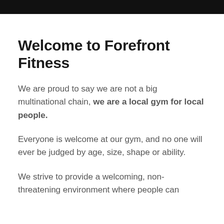Welcome to Forefront Fitness
We are proud to say we are not a big multinational chain, we are a local gym for local people.
Everyone is welcome at our gym, and no one will ever be judged by age, size, shape or ability.
We strive to provide a welcoming, non-threatening environment where people can